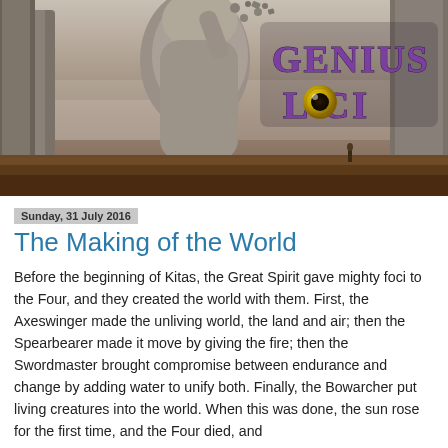[Figure (illustration): Banner image with stone/rock formations in a misty fantasy landscape and 'Genius Loci' logo text with an eye as the 'O' in purple lettering on the right side]
Sunday, 31 July 2016
The Making of the World
Before the beginning of Kitas, the Great Spirit gave mighty foci to the Four, and they created the world with them. First, the Axeswinger made the unliving world, the land and air; then the Spearbearer made it move by giving the fire; then the Swordmaster brought compromise between endurance and change by adding water to unify both. Finally, the Bowarcher put living creatures into the world. When this was done, the sun rose for the first time, and the Four died, and